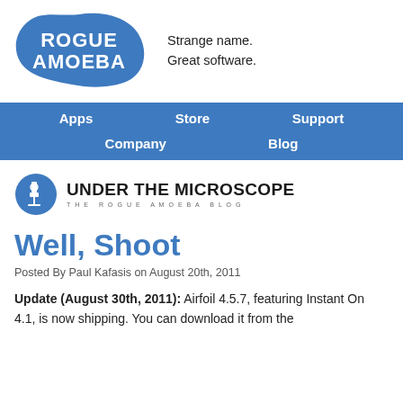[Figure (logo): Rogue Amoeba logo: blue amoeba-shaped blob with white bold text ROGUE AMOEBA]
Strange name.
Great software.
Apps   Store   Support   Company   Blog
[Figure (logo): Under The Microscope blog logo: blue circle with microscope icon and bold text UNDER THE MICROSCOPE / THE ROGUE AMOEBA BLOG]
Well, Shoot
Posted By Paul Kafasis on August 20th, 2011
Update (August 30th, 2011): Airfoil 4.5.7, featuring Instant On 4.1, is now shipping. You can download it from the